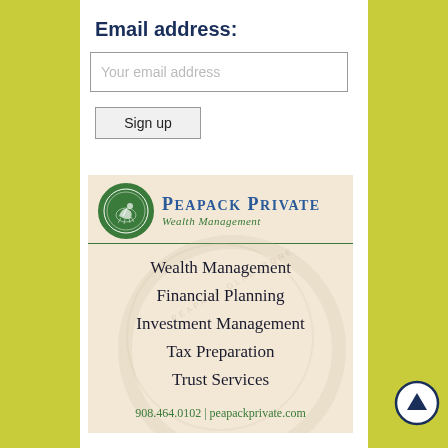Email address:
Your email address
Sign up
[Figure (logo): Peapack Private Wealth Management advertisement with logo, services list (Wealth Management, Financial Planning, Investment Management, Tax Preparation, Trust Services), and contact info: 908.464.0102 | peapackprivate.com]